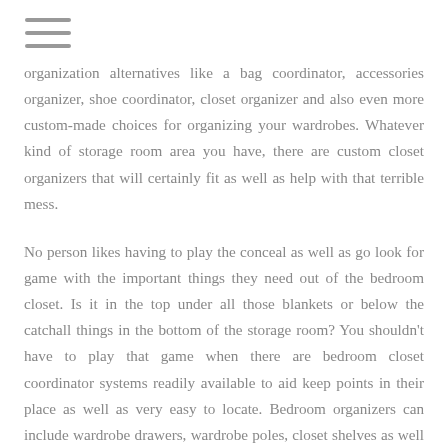≡
organization alternatives like a bag coordinator, accessories organizer, shoe coordinator, closet organizer and also even more custom-made choices for organizing your wardrobes. Whatever kind of storage room area you have, there are custom closet organizers that will certainly fit as well as help with that terrible mess.
No person likes having to play the conceal as well as go look for game with the important things they need out of the bedroom closet. Is it in the top under all those blankets or below the catchall things in the bottom of the storage room? You shouldn't have to play that game when there are bedroom closet coordinator systems readily available to aid keep points in their place as well as very easy to locate. Bedroom organizers can include wardrobe drawers, wardrobe poles, closet shelves as well as other sort of organizing